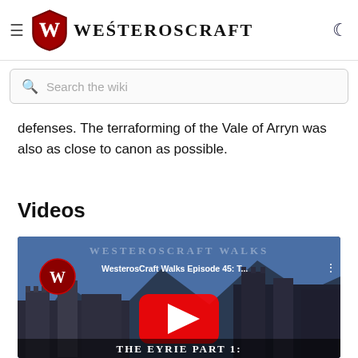WesterosCraft
defenses. The terraforming of the Vale of Arryn was also as close to canon as possible.
Videos
[Figure (screenshot): YouTube video thumbnail for WesterosCraft Walks Episode 45: The Eyrie Part 1, showing a Minecraft castle scene with mountains in the background, a play button overlay, and title text 'The Eyrie Part 1:' at the bottom. The WesterosCraft Walks logo text appears at the top.]